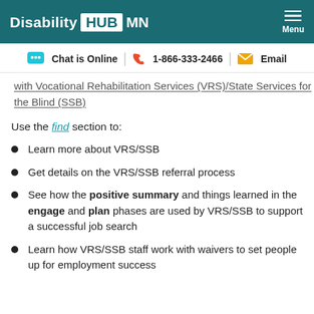Disability HUB MN — Menu
Chat is Online | 1-866-333-2466 | Email
with Vocational Rehabilitation Services (VRS)/State Services for the Blind (SSB)
Use the find section to:
Learn more about VRS/SSB
Get details on the VRS/SSB referral process
See how the positive summary and things learned in the engage and plan phases are used by VRS/SSB to support a successful job search
Learn how VRS/SSB staff work with waivers to set people up for employment success